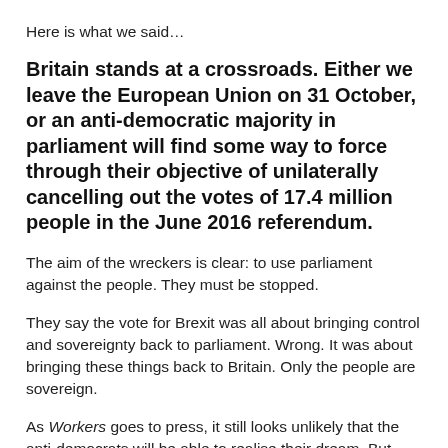Here is what we said…
Britain stands at a crossroads. Either we leave the European Union on 31 October, or an anti-democratic majority in parliament will find some way to force through their objective of unilaterally cancelling out the votes of 17.4 million people in the June 2016 referendum.
The aim of the wreckers is clear: to use parliament against the people. They must be stopped.
They say the vote for Brexit was all about bringing control and sovereignty back to parliament. Wrong. It was about bringing these things back to Britain. Only the people are sovereign.
As Workers goes to press, it still looks unlikely that the anti-democrats will be able to realise their dream. But